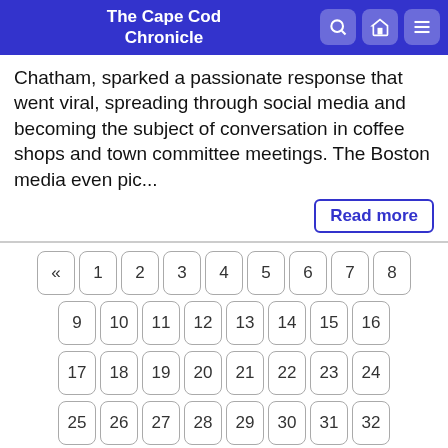The Cape Cod Chronicle
Chatham, sparked a passionate response that went viral, spreading through social media and becoming the subject of conversation in coffee shops and town committee meetings. The Boston media even pic...
Read more
« 1 2 3 4 5 6 7 8
9 10 11 12 13 14 15 16
17 18 19 20 21 22 23 24
25 26 27 28 29 30 31 32
33 34 35 36 37 38 39 40